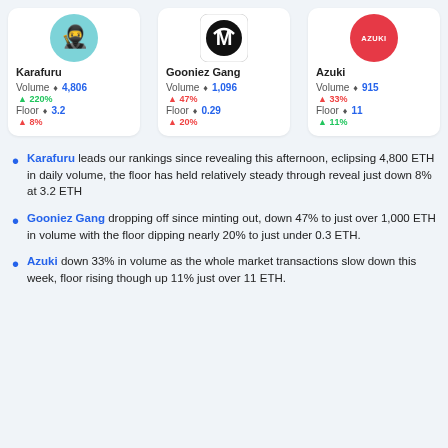[Figure (infographic): Three NFT collection cards showing Karafuru, Gooniez Gang, and Azuki with volume and floor price data]
Karafuru leads our rankings since revealing this afternoon, eclipsing 4,800 ETH in daily volume, the floor has held relatively steady through reveal just down 8% at 3.2 ETH
Gooniez Gang dropping off since minting out, down 47% to just over 1,000 ETH in volume with the floor dipping nearly 20% to just under 0.3 ETH.
Azuki down 33% in volume as the whole market transactions slow down this week, floor rising though up 11% just over 11 ETH.